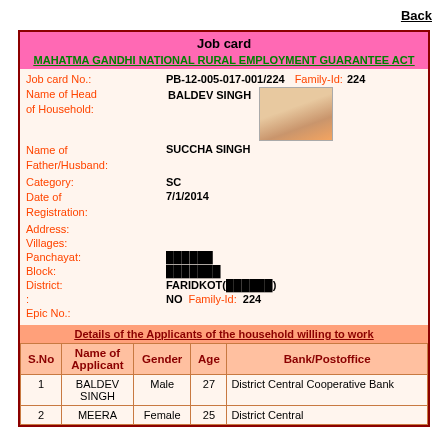Back
Job card
MAHATMA GANDHI NATIONAL RURAL EMPLOYMENT GUARANTEE ACT
Job card No.: PB-12-005-017-001/224   Family-Id: 224
Name of Head of Household: BALDEV SINGH
Name of Father/Husband: SUCCHA SINGH
Category: SC
Date of Registration: 7/1/2014
Address:
Villages:
Panchayat: ██████
Block: ███████
District: FARIDKOT(██████)
: NO  Family-Id: 224
Epic No.:
Details of the Applicants of the household willing to work
| S.No | Name of Applicant | Gender | Age | Bank/Postoffice |
| --- | --- | --- | --- | --- |
| 1 | BALDEV SINGH | Male | 27 | District Central Cooperative Bank |
| 2 | MEERA | Female | 25 | District Central |